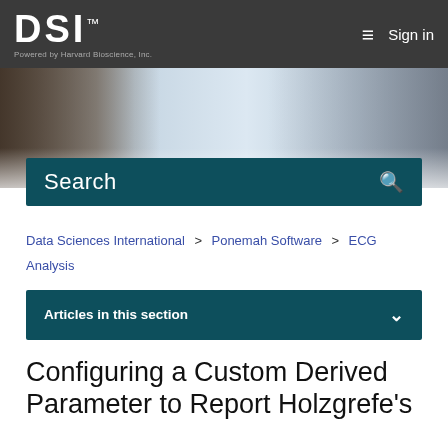DSI™ — Powered by Harvard Bioscience, Inc. | Sign in
[Figure (photo): Hero banner image showing laboratory researchers, one man looking through a microscope and two women in masks in a bright lab setting]
Search
Data Sciences International > Ponemah Software > ECG Analysis
Articles in this section
Configuring a Custom Derived Parameter to Report Holzgrefe's